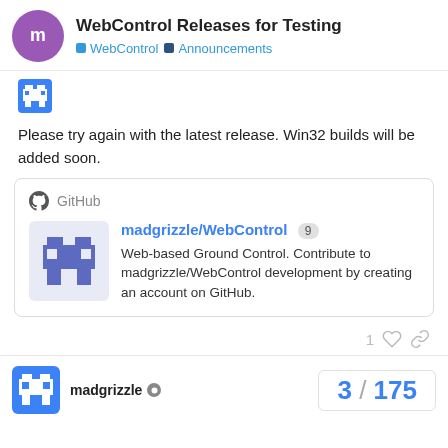WebControl Releases for Testing — WebControl | Announcements
Please try again with the latest release. Win32 builds will be added soon.
[Figure (screenshot): GitHub card for madgrizzle/WebControl repository with description: Web-based Ground Control. Contribute to madgrizzle/WebControl development by creating an account on GitHub. Badge showing 9.]
madgrizzle  3 / 175